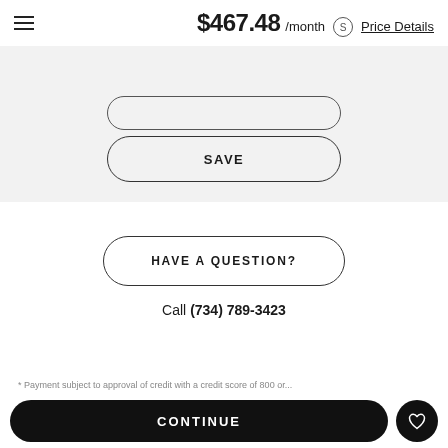$467.48 /month Price Details
SAVE
HAVE A QUESTION?
Call (734) 789-3423
* Payment subject to approval of credit with a credit score of 800 or...
CONTINUE